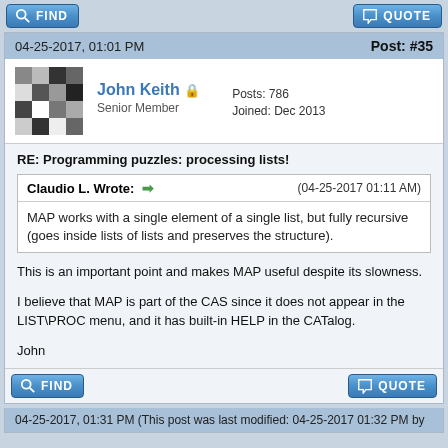[Figure (screenshot): Forum post page showing John Keith's reply to a thread about programming puzzles, with quote from Claudio L.]
04-25-2017, 01:01 PM  Post: #35
John Keith  Senior Member  Posts: 786  Joined: Dec 2013
RE: Programming puzzles: processing lists!
Claudio L. Wrote:  (04-25-2017 01:11 AM)
MAP works with a single element of a single list, but fully recursive (goes inside lists of lists and preserves the structure).
This is an important point and makes MAP useful despite its slowness.

I believe that MAP is part of the CAS since it does not appear in the LIST\PROC menu, and it has built-in HELP in the CATalog.

John
04-25-2017, 01:31 PM (This post was last modified: 04-25-2017 01:32 PM by